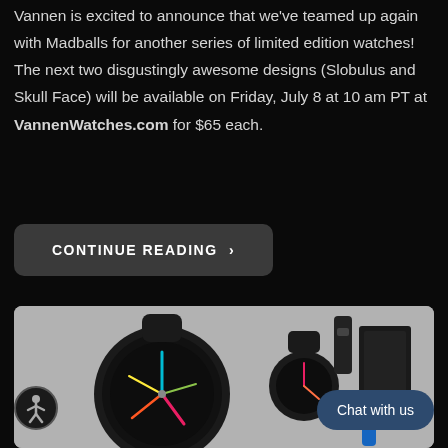Vannen is excited to announce that we've teamed up again with Madballs for another series of limited edition watches! The next two disgustingly awesome designs (Slobulus and Skull Face) will be available on Friday, July 8 at 10 am PT at VannenWatches.com for $65 each.
CONTINUE READING >
[Figure (photo): Photo of black Vannen watches with colorful clock hands on a gray background, alongside watch strap and black box packaging]
Chat with us